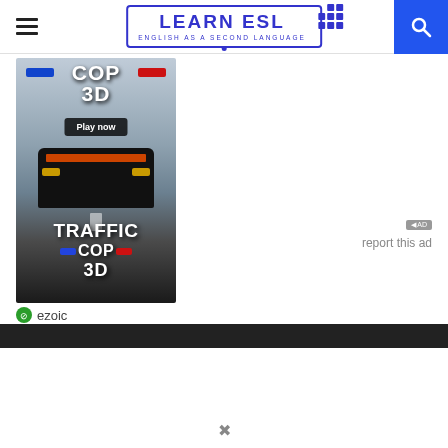LEARN ESL — ENGLISH AS A SECOND LANGUAGE
[Figure (screenshot): Traffic Cop 3D game advertisement with 'Play now' button, showing a police car on a road. Ezoic branding below.]
ezoic
report this ad